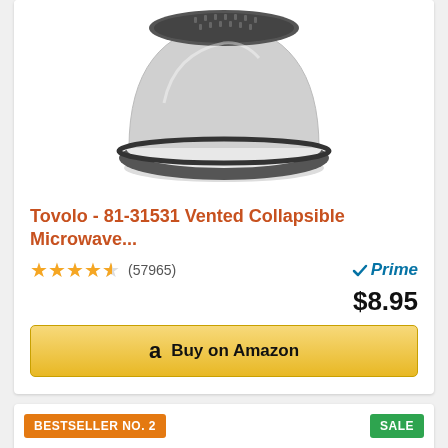[Figure (photo): Tovolo collapsible microwave cover product photo - circular dome-shaped cover with grey vented top and clear/white silicone sides, viewed from above at an angle]
Tovolo - 81-31531 Vented Collapsible Microwave...
★★★★½ (57965) Prime $8.95
Buy on Amazon
BESTSELLER NO. 2
SALE
[Figure (photo): Silicone baking mat product photo - two grey-bordered tan/beige silicone baking mats stacked slightly offset]